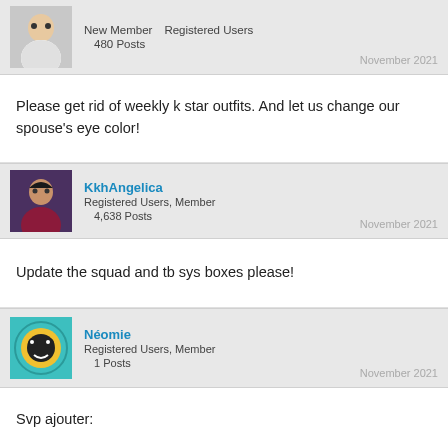New Member   Registered Users
480 Posts
November 2021
Please get rid of weekly k star outfits. And let us change our spouse's eye color!
KkhAngelica
Registered Users, Member
4,638 Posts
November 2021
Update the squad and tb sys boxes please!
Néomie
Registered Users, Member
1 Posts
November 2021
Svp ajouter: